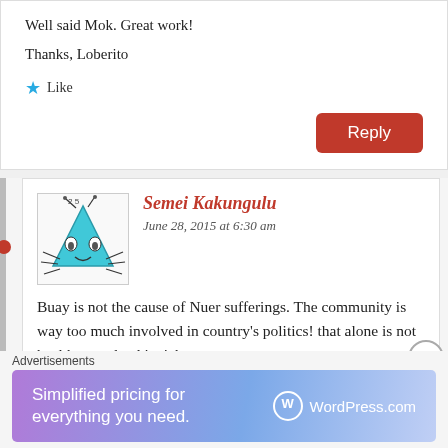Well said Mok. Great work!
Thanks, Loberito
Like
Reply
Semei Kakungulu
June 28, 2015 at 6:30 am
[Figure (illustration): Avatar illustration of a blue triangular creature with antennae and legs]
Buay is not the cause of Nuer sufferings. The community is way too much involved in country's politics! that alone is not healthy. our land is rich,
Advertisements
Simplified pricing for everything you need.
WordPress.com